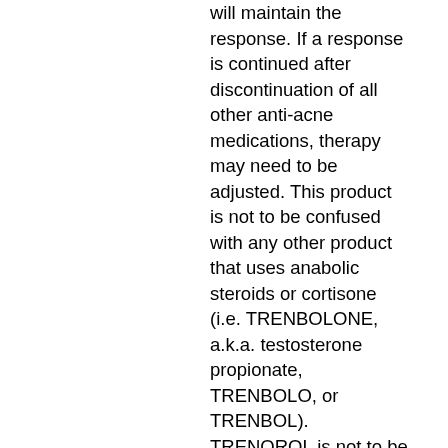will maintain the response. If a response is continued after discontinuation of all other anti-acne medications, therapy may need to be adjusted. This product is not to be confused with any other product that uses anabolic steroids or cortisone (i.e. TRENBOLONE, a.k.a. testosterone propionate, TRENBOLO, or TRENBOL). TRENOROL is not to be confused with any of the many "growth stimulants" that include anabolic steroids, cortisone, or ephedrine. See section above on the effect of steroids and growth stimulants. PROFILES PROFILES is a pure extract of rhizome of Centrophenoxylon rhizome. This extract contains approximately 12-14% polyphenols. The polyphenol content of this particular rhizome and the extract may vary widely. PROFILES is a stable anabolic product that is clinically effective in humans. No side effects have been seen. If a